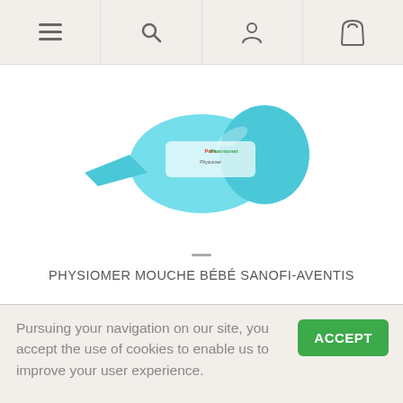[Figure (screenshot): Top navigation bar with hamburger menu, search icon, user icon, and cart/bag icon on a light beige background]
[Figure (photo): Product image of Physiomer Mouche Bébé Sanofi-Aventis nasal aspirator in turquoise color with ParaPharmonet branding visible]
PHYSIOMER MOUCHE BÉBÉ SANOFI-AVENTIS
3,81 €
[Figure (other): 5 empty pink star rating icons]
ADD TO CART
Pursuing your navigation on our site, you accept the use of cookies to enable us to improve your user experience.
ACCEPT